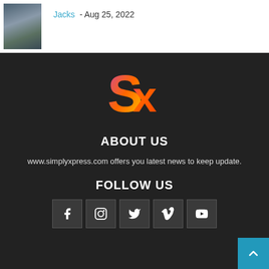[Figure (photo): Author photo thumbnail of a person outdoors]
Jacks - Aug 25, 2022
[Figure (logo): SimplyXpress logo: colorful S and X letters with gradient pink/orange/yellow colors on dark background]
ABOUT US
www.simplyxpress.com offers you latest news to keep update.
FOLLOW US
[Figure (infographic): Social media icons row: Facebook, Instagram, Twitter, Vimeo, YouTube]